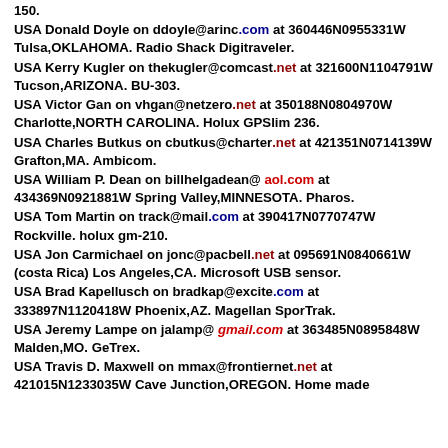150.
USA Donald Doyle on ddoyle@arinc.com at 360446N0955331W Tulsa,OKLAHOMA. Radio Shack Digitraveler.
USA Kerry Kugler on thekugler@comcast.net at 321600N1104791W Tucson,ARIZONA. BU-303.
USA Victor Gan on vhgan@netzero.net at 350188N0804970W Charlotte,NORTH CAROLINA. Holux GPSlim 236.
USA Charles Butkus on cbutkus@charter.net at 421351N0714139W Grafton,MA. Ambicom.
USA William P. Dean on billhelgadean@aol.com at 434369N0921881W Spring Valley,MINNESOTA. Pharos.
USA Tom Martin on track@mail.com at 390417N0770747W Rockville. holux gm-210.
USA Jon Carmichael on jonc@pacbell.net at 095691N0840661W (costa Rica) Los Angeles,CA. Microsoft USB sensor.
USA Brad Kapellusch on bradkap@excite.com at 333897N1120418W Phoenix,AZ. Magellan SporTrak.
USA Jeremy Lampe on jalamp@gmail.com at 363485N0895848W Malden,MO. GeTrex.
USA Travis D. Maxwell on mmax@frontiernet.net at 421015N1233035W Cave Junction,OREGON. Home made